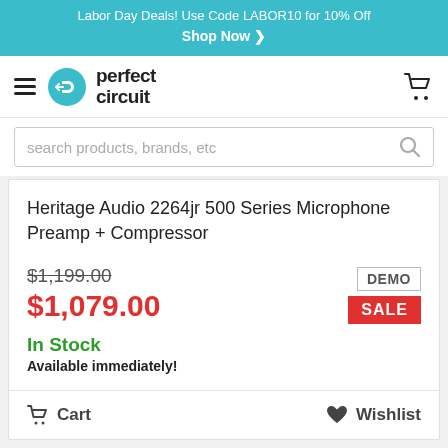Labor Day Deals! Use Code LABOR10 for 10% Off Shop Now ❯
[Figure (logo): Perfect Circuit logo with teal circle arrow icon and bold lowercase text]
Heritage Audio 2264jr 500 Series Microphone Preamp + Compressor
$1,199.00 (strikethrough) $1,079.00 DEMO SALE
In Stock
Available immediately!
Cart  Wishlist